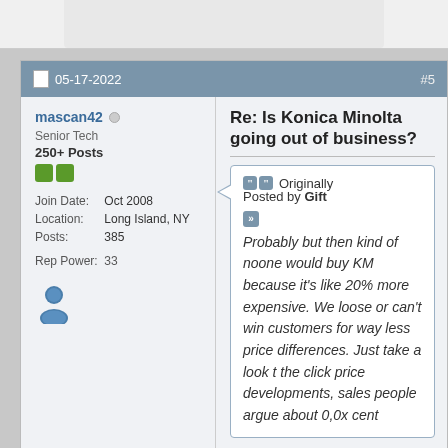05-17-2022  #5
mascan42
Senior Tech
250+ Posts
Join Date: Oct 2008
Location: Long Island, NY
Posts: 385
Rep Power: 33
Re: Is Konica Minolta going out of business?
Originally Posted by Gift
Probably but then kind of noone would buy KM because it's like 20% more expensive. We loose or can't win customers for way less price differences. Just take a look t the click price developments, sales people argue about 0,0x cent